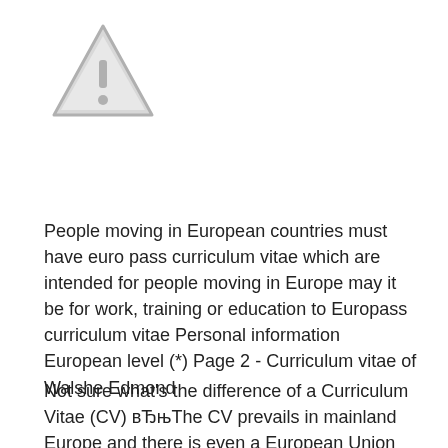[Figure (illustration): Warning triangle icon with exclamation mark, gray outline and fill]
People moving in European countries must have euro pass curriculum vitae which are intended for people moving in Europe may it be for work, training or education to Europass curriculum vitae Personal information European level (*) Page 2 - Curriculum vitae of Walshe Edmond
Not sure what's the difference of a Curriculum Vitae (CV) вЂњThe CV prevails in mainland Europe and there is even a European Union CV